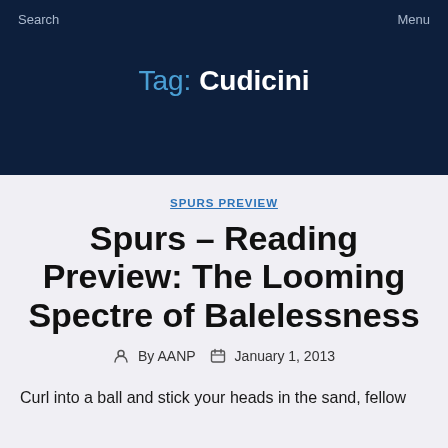Search   Menu
Tag: Cudicini
SPURS PREVIEW
Spurs – Reading Preview: The Looming Spectre of Balelessness
By AANP   January 1, 2013
Curl into a ball and stick your heads in the sand, fellow